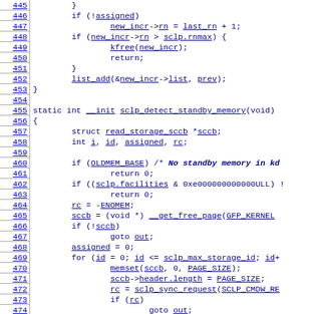[Figure (screenshot): Source code listing in C showing lines 445-474 of a Linux kernel file related to SCLP standby memory detection. Line numbers are shown in the left column with underline links. Code is shown in monospace dark blue font.]